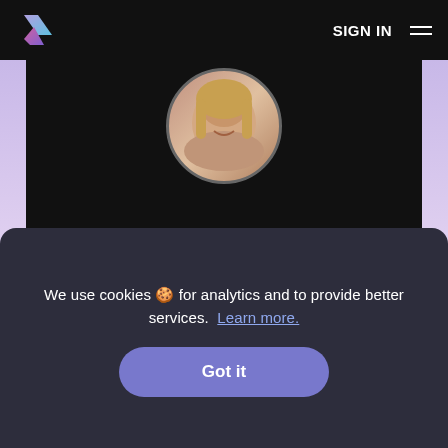SIGN IN
[Figure (screenshot): Video thumbnail showing a woman with blonde hair in a circular cropped portrait, on a dark background card with purple/pink gradient border]
Video
AI Regulation is Coming: How Should You Prepare?
Oct 6th, 2021 • Views 841
We use cookies 🍪 for analytics and to provide better services. Learn more.
Got it
Aylin Caliskan
Safiya Noble